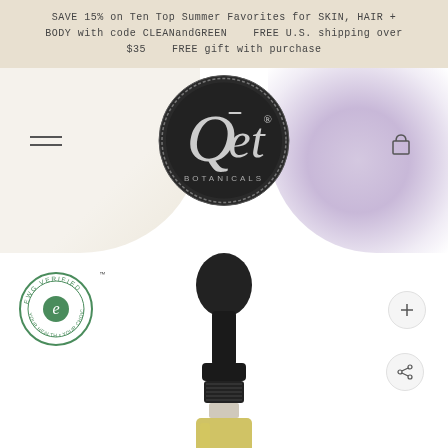SAVE 15% on Ten Top Summer Favorites for SKIN, HAIR + BODY with code CLEANandGREEN    FREE U.S. shipping over $35    FREE gift with purchase
[Figure (logo): Qet Botanicals circular dark logo on navigation bar]
[Figure (photo): Dropper bottle of Qet Botanicals facial oil product, amber/yellow liquid visible at bottom, black dropper cap at top]
[Figure (logo): EWG VERIFIED certification badge, circular green badge]